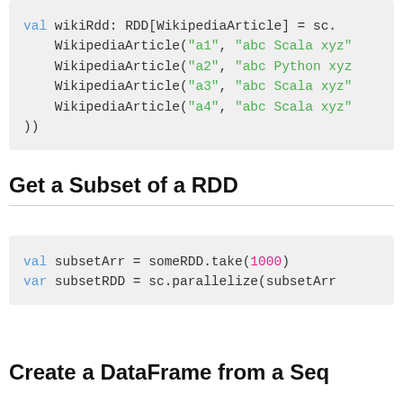val wikiRdd: RDD[WikipediaArticle] = sc.
    WikipediaArticle("a1", "abc Scala xyz"
    WikipediaArticle("a2", "abc Python xyz
    WikipediaArticle("a3", "abc Scala xyz"
    WikipediaArticle("a4", "abc Scala xyz"
))
Get a Subset of a RDD
val subsetArr = someRDD.take(1000)
var subsetRDD = sc.parallelize(subsetArr
Create a DataFrame from a Seq